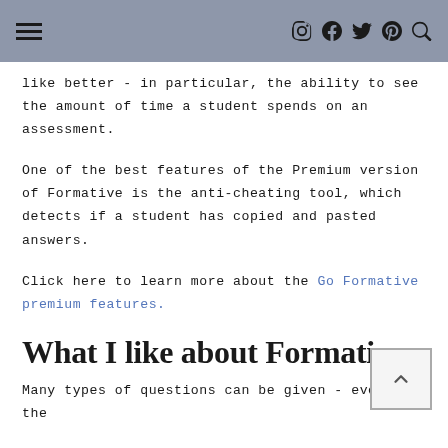[navigation header with hamburger menu and social icons]
like better - in particular, the ability to see the amount of time a student spends on an assessment.
One of the best features of the Premium version of Formative is the anti-cheating tool, which detects if a student has copied and pasted answers.
Click here to learn more about the Go Formative premium features.
What I like about Formative:
Many types of questions can be given - even in the